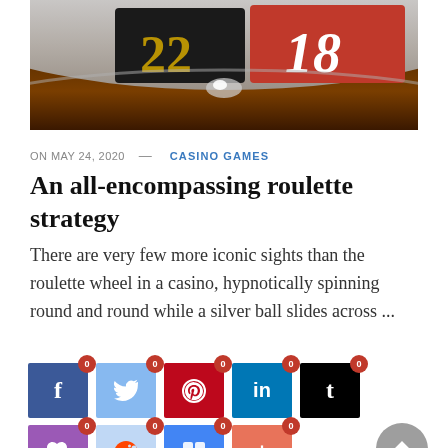[Figure (photo): Close-up photo of a roulette wheel showing numbers 18 and 22, with a brown wooden table background. The wheel rim is visible with red and black numbered segments.]
ON MAY 24, 2020 — CASINO GAMES
An all-encompassing roulette strategy
There are very few more iconic sights than the roulette wheel in a casino, hypnotically spinning round and round while a silver ball slides across ...
[Figure (infographic): Row of social media share buttons: Facebook, Twitter, Pinterest, LinkedIn, Tumblr — each with a red badge showing 0. Second row: Save (purple heart), Reddit, Mela (blue squares), Plus (coral), with a grey scroll-to-top button on the right.]